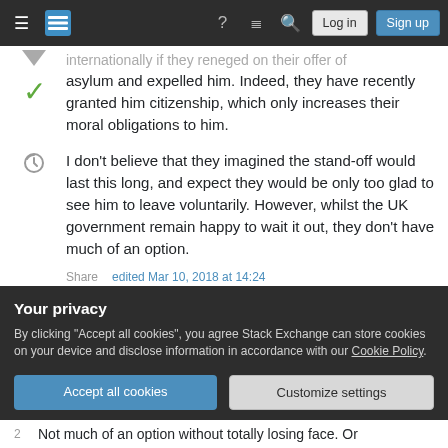Stack Exchange navigation bar with Log in and Sign up buttons
internationally if they reneged on their offer of asylum and expelled him. Indeed, they have recently granted him citizenship, which only increases their moral obligations to him.

I don't believe that they imagined the stand-off would last this long, and expect they would be only too glad to see him to leave voluntarily. However, whilst the UK government remain happy to wait it out, they don't have much of an option.
Share
edited Mar 10, 2018 at 14:24
Your privacy
By clicking "Accept all cookies", you agree Stack Exchange can store cookies on your device and disclose information in accordance with our Cookie Policy.
Accept all cookies   Customize settings
2 Not much of an option without totally losing face. Or